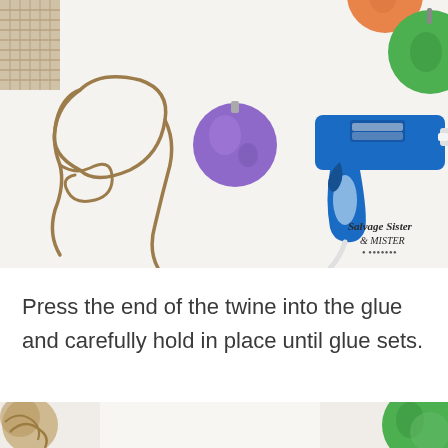[Figure (photo): Top-down photo on white background showing brown twine loosely arranged in a shape, a purple round ornament/ball, a blue hot glue gun with white cord, and partial view of orange and green round ornaments in the top corners. Watermark reads 'Salvage Sister & MISTER' in bottom right.]
Press the end of the twine into the glue and carefully hold in place until glue sets.
[Figure (photo): Bottom portion of a photo showing brown twine/rope at left, white background in center, and green round ornament at right edge.]